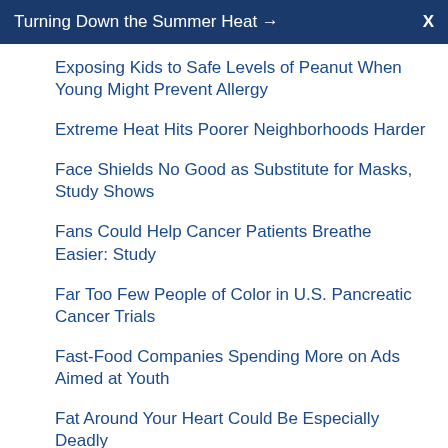Turning Down the Summer Heat → X
Exposing Kids to Safe Levels of Peanut When Young Might Prevent Allergy
Extreme Heat Hits Poorer Neighborhoods Harder
Face Shields No Good as Substitute for Masks, Study Shows
Fans Could Help Cancer Patients Breathe Easier: Study
Far Too Few People of Color in U.S. Pancreatic Cancer Trials
Fast-Food Companies Spending More on Ads Aimed at Youth
Fat Around Your Heart Could Be Especially Deadly
Fatal Opioid ODs Keep Rising in Black Americans
Fauci 'Cautiously Optimistic' for COVID-19 Vaccine